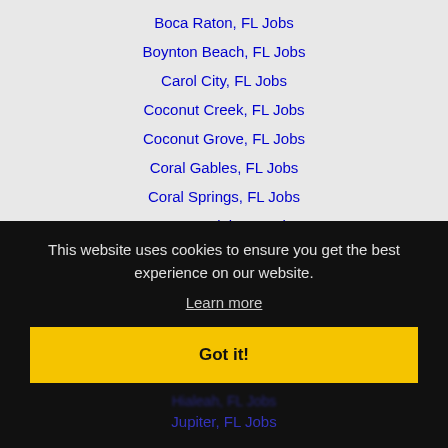Boca Raton, FL Jobs
Boynton Beach, FL Jobs
Carol City, FL Jobs
Coconut Creek, FL Jobs
Coconut Grove, FL Jobs
Coral Gables, FL Jobs
Coral Springs, FL Jobs
Country Club, FL Jobs
Davie, FL Jobs
This website uses cookies to ensure you get the best experience on our website.
Learn more
Got it!
Hialeah, FL Jobs
Jupiter, FL Jobs